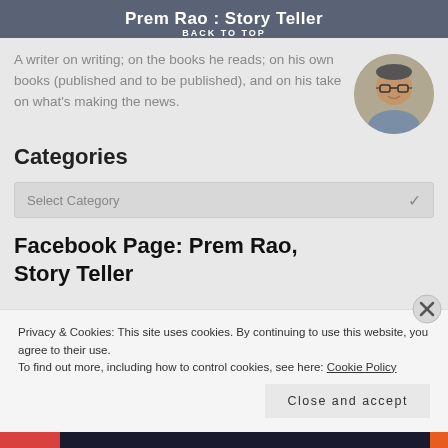Prem Rao : Story Teller
BACK TO TOP
A writer on writing; on the books he reads; on his own books (published and to be published), and on his take on what's making the news.
[Figure (photo): Circular profile photo of a man wearing glasses and a grey shirt]
Categories
Select Category
Facebook Page: Prem Rao, Story Teller
Privacy & Cookies: This site uses cookies. By continuing to use this website, you agree to their use.
To find out more, including how to control cookies, see here: Cookie Policy
Close and accept